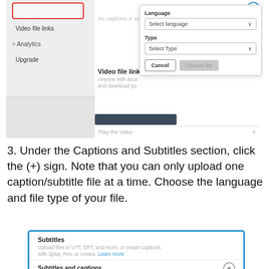[Figure (screenshot): Screenshot of a video platform interface showing a left sidebar with Video file links, Analytics, Upgrade items, and a main area with a dialog box for adding captions/subtitles with Language and Type dropdowns, Cancel and Choose file buttons, and a dark action bar.]
3. Under the Captions and Subtitles section, click the (+) sign. Note that you can only upload one caption/subtitle file at a time. Choose the language and file type of your file.
[Figure (screenshot): Screenshot showing a Subtitles panel with description 'Upload files in VTT, SRT, and more, or create captions with 3play, Rev, or Amara. Learn more' and a 'Subtitles and captions' row with a (+) button, all enclosed in a blue border.]